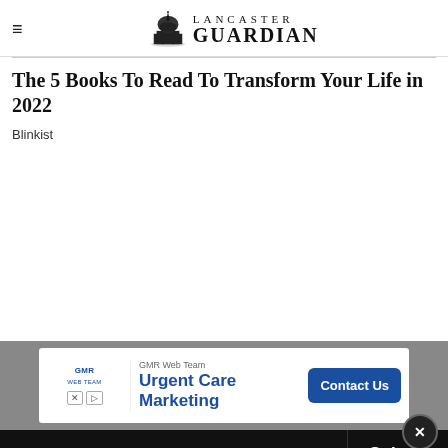Lancaster Guardian
The 5 Books To Read To Transform Your Life in 2022
Blinkist
[Figure (screenshot): Advertisement banner for GMR Web Team Urgent Care Marketing with a Contact Us button]
Get 70% fewer ads. Start your 2-month trial for just £2 per month
Subscribe Today